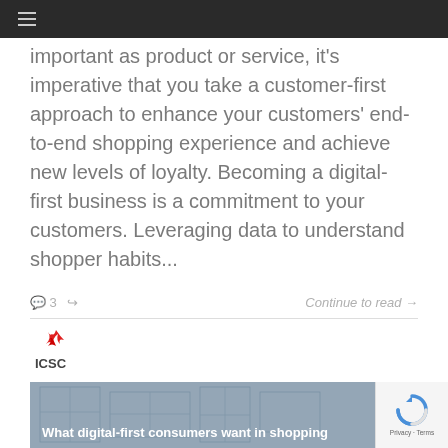≡
important as product or service, it's imperative that you take a customer-first approach to enhance your customers' end-to-end shopping experience and achieve new levels of loyalty. Becoming a digital-first business is a commitment to your customers. Leveraging data to understand shopper habits...
💬 3  ↪   Continue to read →
[Figure (logo): ICSC logo with red flame/spark icon above the letters ICSC]
[Figure (photo): Blueprint/architectural floor plan drawing of a shopping center with text overlay: What digital-first consumers want in shopping...]